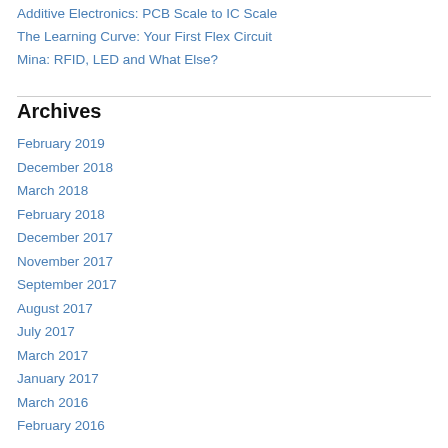Additive Electronics: PCB Scale to IC Scale
The Learning Curve: Your First Flex Circuit
Mina: RFID, LED and What Else?
Archives
February 2019
December 2018
March 2018
February 2018
December 2017
November 2017
September 2017
August 2017
July 2017
March 2017
January 2017
March 2016
February 2016